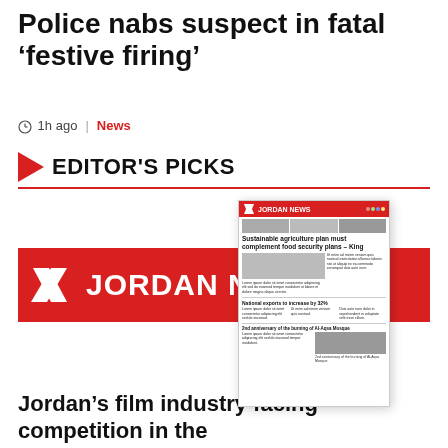Police nabs suspect in fatal ‘festive firing’
1h ago | News
EDITOR'S PICKS
[Figure (other): Jordan News logo banner with newspaper front page mockup overlay showing headline: Sustainable agriculture plan must complement food security plans – King; National exports to increase by 32%; 2nd anniversary of the burning of Al-Aqsa Mosque. Red and white Jordan News logo with stylized N icon.]
Jordan’s film industry facing competition in the